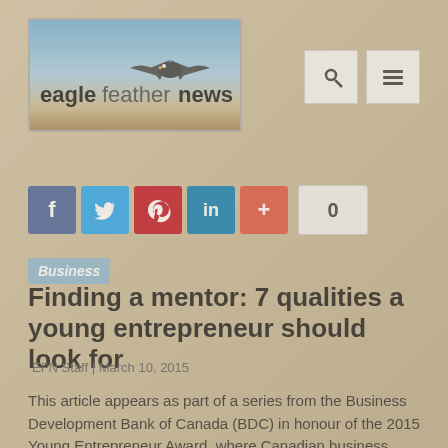[Figure (logo): Eagle Feather News logo with eagle silhouette and blue sky background]
[Figure (infographic): Social media share buttons: Facebook, Twitter, Pinterest, LinkedIn, Google Plus, and a share count of 0]
Business
Finding a mentor: 7 qualities a young entrepreneur should look for
EFN Staff | March 10, 2015
This article appears as part of a series from the Business Development Bank of Canada (BDC) in honour of the 2015 Young Entrepreneur Award, where Canadian business owners aged 18 to 35 compete for a grand prize of $100,000 and a second prize of